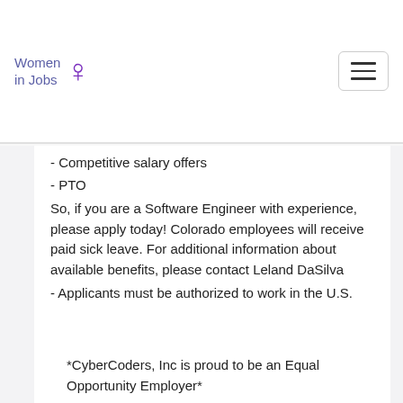Women in Jobs [logo]
- Competitive salary offers
- PTO
So, if you are a Software Engineer with experience, please apply today! Colorado employees will receive paid sick leave. For additional information about available benefits, please contact Leland DaSilva
- Applicants must be authorized to work in the U.S.
*CyberCoders, Inc is proud to be an Equal Opportunity Employer*